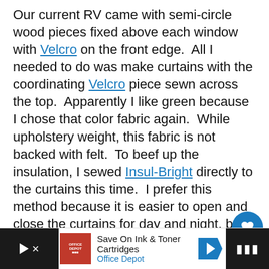Our current RV came with semi-circle wood pieces fixed above each window with Velcro on the front edge.  All I needed to do was make curtains with the coordinating Velcro piece sewn across the top.  Apparently I like green because I chose that color fabric again.  While upholstery weight, this fabric is not backed with felt.  To beef up the insulation, I sewed Insul-Bright directly to the curtains this time.  I prefer this method because it is easier to open and close the curtains for day and night, but applying Insul-Bright directly to the window was more effective at managing the temperature inside.
[Figure (other): UI overlay: heart/save button with 18.9K count, and share button]
[Figure (other): Advertisement bar: Office Depot - Save On Ink & Toner Cartridges, with logo, navigation arrow icon, and right-side dark block with broadcast icon]